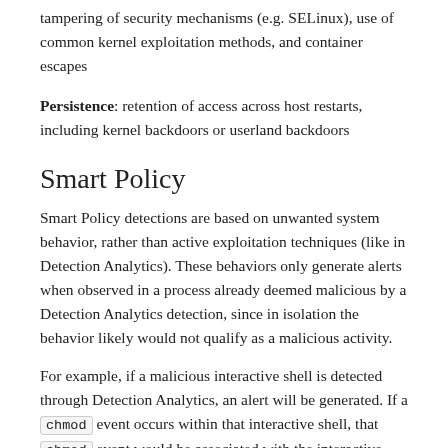tampering of security mechanisms (e.g. SELinux), use of common kernel exploitation methods, and container escapes
Persistence: retention of access across host restarts, including kernel backdoors or userland backdoors
Smart Policy
Smart Policy detections are based on unwanted system behavior, rather than active exploitation techniques (like in Detection Analytics). These behaviors only generate alerts when observed in a process already deemed malicious by a Detection Analytics detection, since in isolation the behavior likely would not qualify as a malicious activity.
For example, if a malicious interactive shell is detected through Detection Analytics, an alert will be generated. If a chmod event occurs within that interactive shell, that chmod event would be associated with the interactive